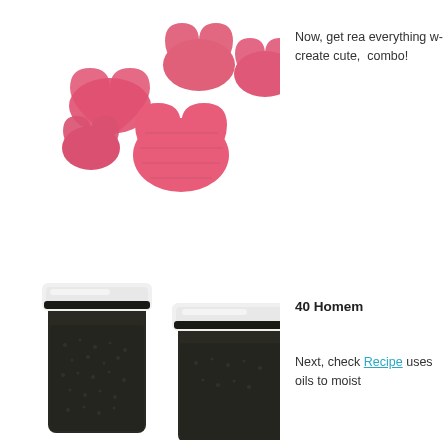[Figure (photo): A cluster of pink heart-shaped bath or soap tablets/bombs on a white background]
Now, get rea everything w create cute, combo!
[Figure (photo): Two glass jars with white lids containing dark granular material (bath salts or similar product) on a white background]
40 Homem
Next, check Recipe uses oils to moist